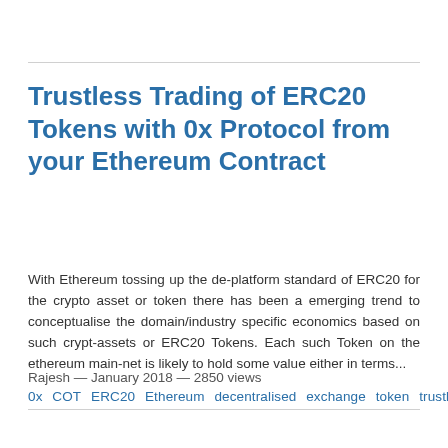Trustless Trading of ERC20 Tokens with 0x Protocol from your Ethereum Contract
With Ethereum tossing up the de-platform standard of ERC20 for the crypto asset or token there has been a emerging trend to conceptualise the domain/industry specific economics based on such crypt-assets or ERC20 Tokens. Each such Token on the ethereum main-net is likely to hold some value either in terms...
Rajesh — January 2018 — 2850 views
0x  COT  ERC20  Ethereum  decentralised  exchange  token  trustless